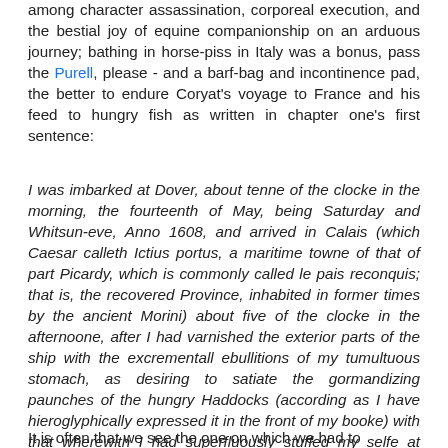among character assassination, corporeal execution, and the bestial joy of equine companionship on an arduous journey; bathing in horse-piss in Italy was a bonus, pass the Purell, please - and a barf-bag and incontinence pad, the better to endure Coryat's voyage to France and his feed to hungry fish as written in chapter one's first sentence:
I was imbarked at Dover, about tenne of the clocke in the morning, the fourteenth of May, being Saturday and Whitsun-eve, Anno 1608, and arrived in Calais (which Caesar calleth Ictius portus, a maritime towne of that of part Picardy, which is commonly called le pais reconquis; that is, the recovered Province, inhabited in former times by the ancient Morini) about five of the clocke in the afternoone, after I had varnished the exterior parts of the ship with the excrementall ebullitions of my tumultuous stomach, as desiring to satiate the gormandizing paunches of the hungry Haddocks (according as I have hieroglyphically expressed it in the front of my booke) with that wherewith I had superfluously stuffed my selfe at land, having made my rumbling belly their capacious aumbrie.
It is often that we see the one on which we had to...